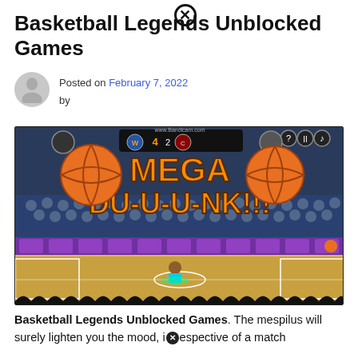Basketball Legends Unblocked Games
Posted on February 7, 2022 by
[Figure (screenshot): Screenshot of Basketball Legends game showing 'MEGA DU-U-U-NK!!!' text on the screen with basketball court, crowd, and game UI elements including score 4-2, www.Bandicam.com watermark, and a player character on court.]
Basketball Legends Unblocked Games. The mespilus will surely lighten you the mood, irrespective of a match